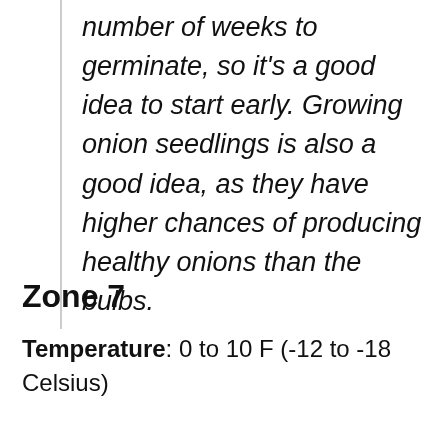number of weeks to germinate, so it's a good idea to start early. Growing onion seedlings is also a good idea, as they have higher chances of producing healthy onions than the bulbs.
Zone 7
Temperature: 0 to 10 F (-12 to -18 Celsius)